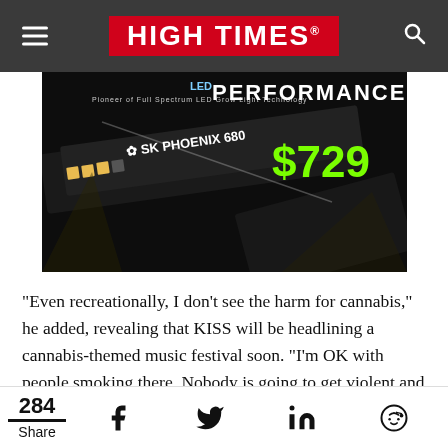HIGH TIMES
[Figure (photo): Advertisement photo of SK Phoenix 680 LED grow light on black background with green price text '$729' and small text 'Pioneer of Full Spectrum LED Grow Light Technology']
“Even recreationally, I don’t see the harm for cannabis,” he added, revealing that KISS will be headlining a cannabis-themed music festival soon. “I’m OK with people smoking there. Nobody is going to get violent and pick a fight on cannabis,” Simmons said
284 Share